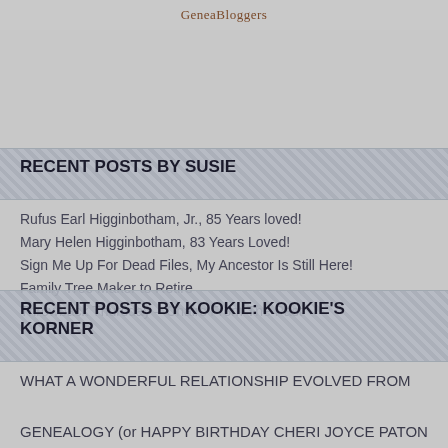GeneaBloggers
RECENT POSTS BY SUSIE
Rufus Earl Higginbotham, Jr., 85 Years loved!
Mary Helen Higginbotham, 83 Years Loved!
Sign Me Up For Dead Files, My Ancestor Is Still Here!
Family Tree Maker to Retire
Throwback Thursday – Chairs From The Past
RECENT POSTS BY KOOKIE: KOOKIE'S KORNER
WHAT A WONDERFUL RELATIONSHIP EVOLVED FROM GENEALOGY (or HAPPY BIRTHDAY CHERI JOYCE PATON ATKINS)